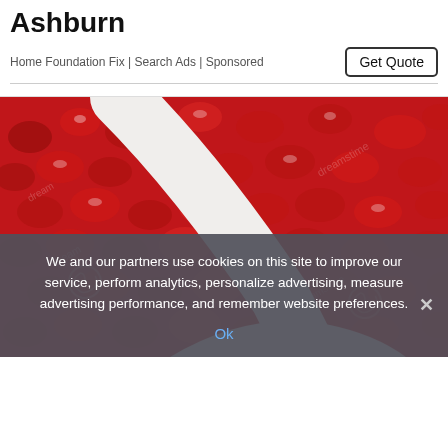Ashburn
Home Foundation Fix | Search Ads | Sponsored
Get Quote
[Figure (photo): Close-up photo of shiny red pomegranate seeds/arils with a white spoon, watermarked with Dreamstime logo]
We and our partners use cookies on this site to improve our service, perform analytics, personalize advertising, measure advertising performance, and remember website preferences.
Ok